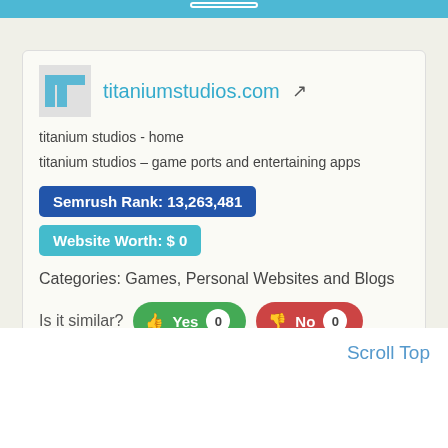titaniumstudios.com
titanium studios - home
titanium studios – game ports and entertaining apps
Semrush Rank: 13,263,481
Website Worth: $ 0
Categories: Games, Personal Websites and Blogs
Is it similar?  Yes 0  No 0
Scroll Top